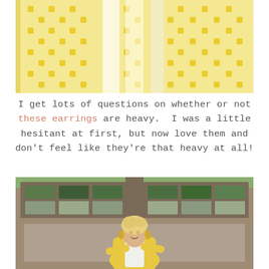[Figure (photo): Close-up of a yellow and white patterned fabric blouse worn by a person]
I get lots of questions on whether or not these earrings are heavy.  I was a little hesitant at first, but now love them and don't feel like they're that heavy at all!
[Figure (photo): Woman with blonde hair wearing a yellow cardigan with white top, smiling in front of a tan garage door with windows]